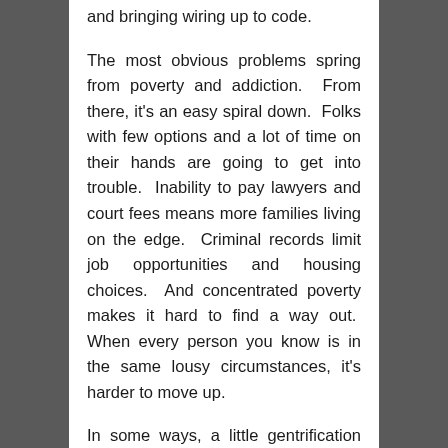and bringing wiring up to code.
The most obvious problems spring from poverty and addiction.  From there, it's an easy spiral down.  Folks with few options and a lot of time on their hands are going to get into trouble.  Inability to pay lawyers and court fees means more families living on the edge.  Criminal records limit job opportunities and housing choices.  And concentrated poverty makes it hard to find a way out.  When every person you know is in the same lousy circumstances, it's harder to move up.
In some ways, a little gentrification would be a good thing in this neighborhood.  So often people want to work, but there's no one around to